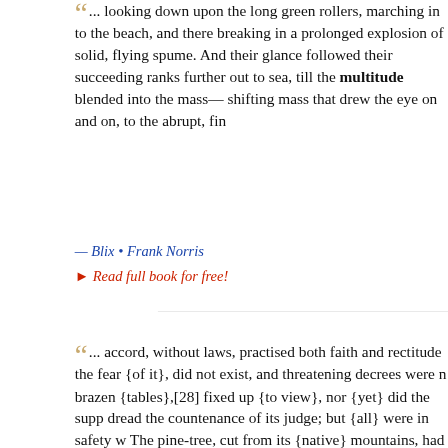... looking down upon the long green rollers, marching in to the beach, and there breaking in a prolonged explosion of solid, flying spume. And their glance followed their succeeding ranks further out to sea, till the multitude blended into the mass—shifting mass that drew the eye on and on, to the abrupt, fin...
— Blix • Frank Norris
▸ Read full book for free!
... accord, without laws, practised both faith and rectitude the fear {of it}, did not exist, and threatening decrees were n brazen {tables},[28] fixed up {to view}, nor {yet} did the supp dread the countenance of its judge; but {all} were in safety w The pine-tree, cut from its {native} mountains, had not yet d flowing waves, that it might visit a foreign region: and morta
...ll • Publius...
This website uses cookies to ensure you get the best experience on our website. Learn more
Got it!
er the hea ... apoplexy-
apoplexy: and they